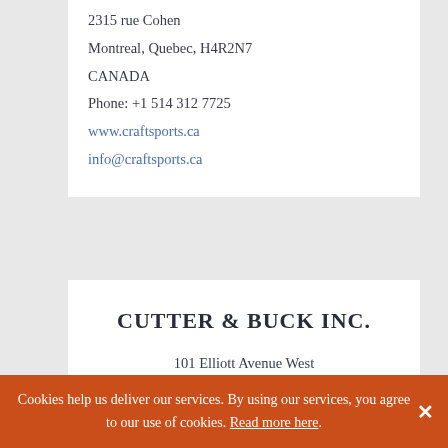2315 rue Cohen
Montreal, Quebec, H4R2N7
CANADA
Phone: +1 514 312 7725
www.craftsports.ca
info@craftsports.ca
CUTTER & BUCK INC.
101 Elliott Avenue West
Suite 100
Seattle, WA 98119
Cookies help us deliver our services. By using our services, you agree to our use of cookies. Read more here.